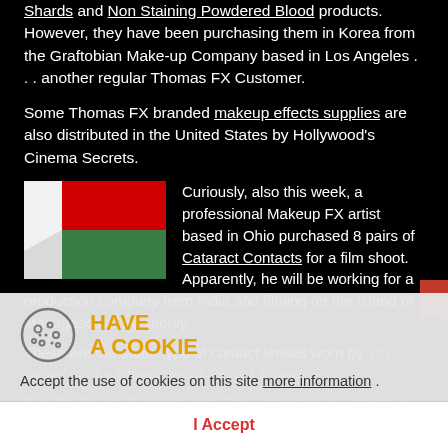Shards and Non Staining Powdered Blood products. However, they have been purchasing them in Korea from the Graftobian Make-up Company based in Los Angeles . . . another regular Thomas FX Customer.
Some Thomas FX branded makeup effects supplies are also distributed in the United States by Hollywood's Cinema Secrets.
[Figure (photo): Madagascar flag - red, white and green diagonal stripes]
Curiously, also this week, a professional Makeup FX artist based in Ohio purchased 8 pairs of Cataract Contacts for a film shoot. Apparently, he will be working for a production company from India and filming on the Island of Madagascar very shortly.
These are the same type of contact lenses worn by Vin Diesel in The Chronicles of Riddick movie.
It is that the sci-fi blockbuster The Chronicles of Riddick to an Island in Madagascar.
Coincidentally, the Makeup effects artist is one of our regular customers and we absolutely loves it.
[Figure (screenshot): Cookie consent overlay with Have A Cookie branding, accept button]